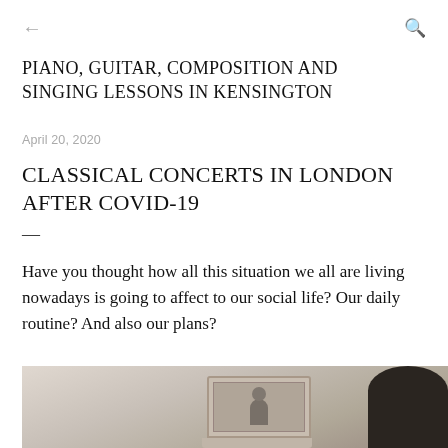← (back) Q (search)
PIANO, GUITAR, COMPOSITION AND SINGING LESSONS IN KENSINGTON
April 20, 2020
CLASSICAL CONCERTS IN LONDON AFTER COVID-19
—
Have you thought how all this situation we all are living nowadays is going to affect to our social life? Our daily routine? And also our plans?
[Figure (photo): Partial photo of a person sitting at a laptop/tablet, viewed from behind, with a screen showing a figure]